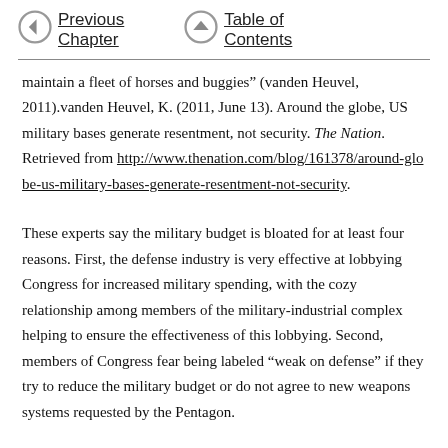Previous Chapter    Table of Contents
maintain a fleet of horses and buggies” (vanden Heuvel, 2011).vanden Heuvel, K. (2011, June 13). Around the globe, US military bases generate resentment, not security. The Nation. Retrieved from http://www.thenation.com/blog/161378/around-globe-us-military-bases-generate-resentment-not-security.
These experts say the military budget is bloated for at least four reasons. First, the defense industry is very effective at lobbying Congress for increased military spending, with the cozy relationship among members of the military-industrial complex helping to ensure the effectiveness of this lobbying. Second, members of Congress fear being labeled “weak on defense” if they try to reduce the military budget or do not agree to new weapons systems requested by the Pentagon.